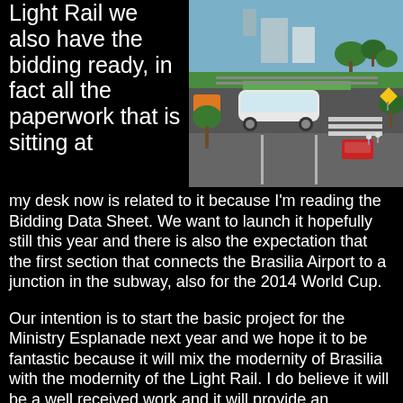Light Rail we also have the bidding ready, in fact all the paperwork that is sitting at
[Figure (photo): Aerial rendering of a light rail transit vehicle on a dedicated track alongside a multi-lane road with trees, buildings, and pedestrians visible.]
my desk now is related to it because I'm reading the Bidding Data Sheet. We want to launch it hopefully still this year and there is also the expectation that the first section that connects the Brasilia Airport to a junction in the subway, also for the 2014 World Cup.
Our intention is to start the basic project for the Ministry Esplanade next year and we hope it to be fantastic because it will mix the modernity of Brasilia with the modernity of the Light Rail. I do believe it will be a well received work and it will provide an important solution to the public transport in the Federal District.